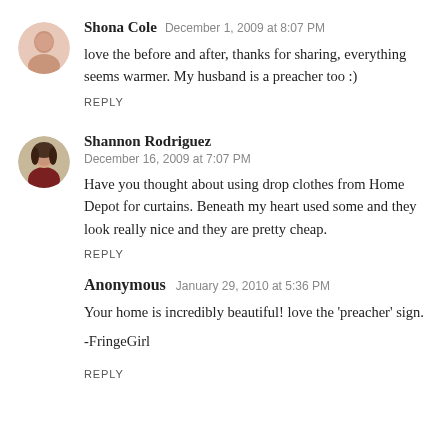Shona Cole  December 1, 2009 at 8:07 PM
love the before and after, thanks for sharing, everything seems warmer. My husband is a preacher too :)
REPLY
Shannon Rodriguez  December 16, 2009 at 7:07 PM
Have you thought about using drop clothes from Home Depot for curtains. Beneath my heart used some and they look really nice and they are pretty cheap.
REPLY
Anonymous  January 29, 2010 at 5:36 PM
Your home is incredibly beautiful! love the 'preacher' sign.
-FringeGirl
REPLY